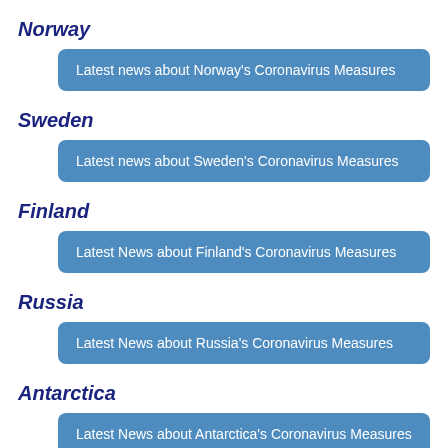Norway
Latest news about Norway's Coronavirus Measures
Sweden
Latest news about Sweden's Coronavirus Measures
Finland
Latest News about Finland's Coronavirus Measures
Russia
Latest News about Russia's Coronavirus Measures
Antarctica
Latest News about Antarctica's Coronavirus Measures